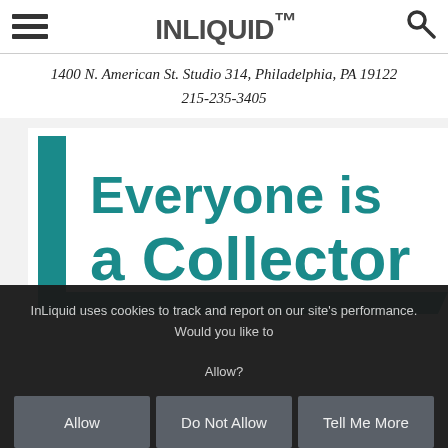INLIQUID™
1400 N. American St. Studio 314, Philadelphia, PA 19122
215-235-3405
[Figure (illustration): InLiquid banner graphic with teal bracket design and text 'Everyone is a Collector' on white background]
InLiquid uses cookies to track and report on our site's performance. Would you like to Allow?
Allow
Do Not Allow
Tell Me More